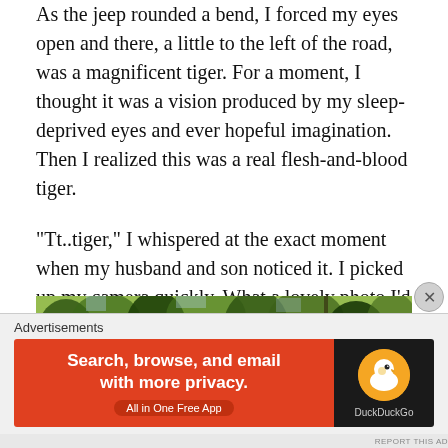As the jeep rounded a bend, I forced my eyes open and there, a little to the left of the road, was a magnificent tiger. For a moment, I thought it was a vision produced by my sleep-deprived eyes and ever hopeful imagination. Then I realized this was a real flesh-and-blood tiger.
“Tt..tiger,” I whispered at the exact moment when my husband and son noticed it. I picked up my camera quickly. What a lovely photo I’d get of the tiger’s profile!
Just then, the tiger turned and started walking down the road. We followed behind in the jeep.
[Figure (photo): A photograph of dense green forest trees and foliage, taken from a vehicle on a road.]
Advertisements
[Figure (other): DuckDuckGo advertisement banner with orange background. Text: 'Search, browse, and email with more privacy. All in One Free App' with DuckDuckGo logo on dark right panel.]
REPORT THIS AD